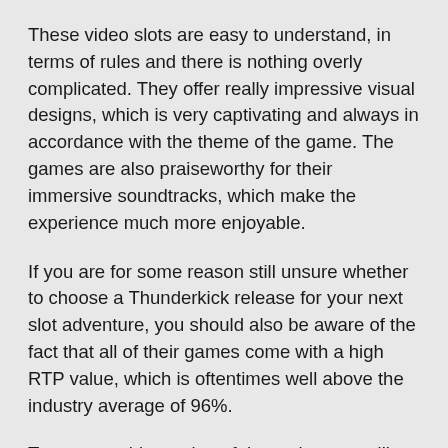These video slots are easy to understand, in terms of rules and there is nothing overly complicated. They offer really impressive visual designs, which is very captivating and always in accordance with the theme of the game. The games are also praiseworthy for their immersive soundtracks, which make the experience much more enjoyable.
If you are for some reason still unsure whether to choose a Thunderkick release for your next slot adventure, you should also be aware of the fact that all of their games come with a high RTP value, which is oftentimes well above the industry average of 96%.
To wrap up this section of the review, we will just say that all of the Thunderkick video slots come with vibrant colours, engaging and sometimes action-packed gameplays, and many exciting bonus features, which are sure to win you over in no time.